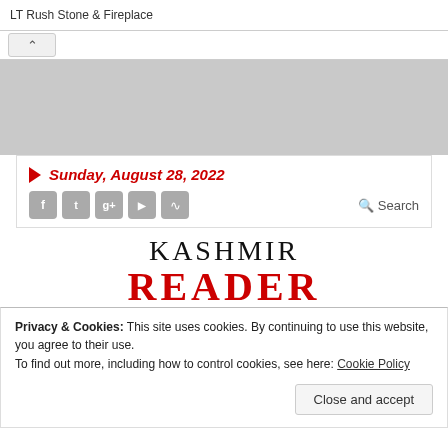LT Rush Stone & Fireplace
Sunday, August 28, 2022
Social media icons: Facebook, Twitter, Google+, YouTube, RSS
Search
KASHMIR READER
Privacy & Cookies: This site uses cookies. By continuing to use this website, you agree to their use.
To find out more, including how to control cookies, see here: Cookie Policy
Close and accept